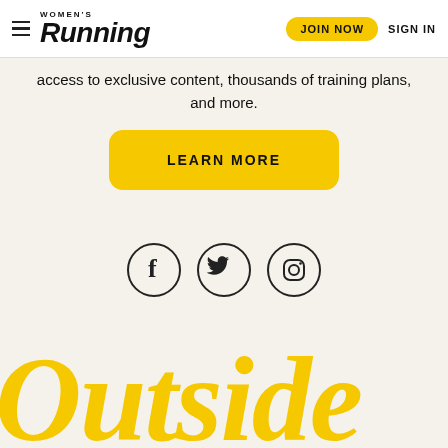women's Running — JOIN NOW — SIGN IN
access to exclusive content, thousands of training plans, and more.
LEARN MORE
[Figure (illustration): Social media icons: Facebook, Twitter, Instagram in circular outlines]
Outside